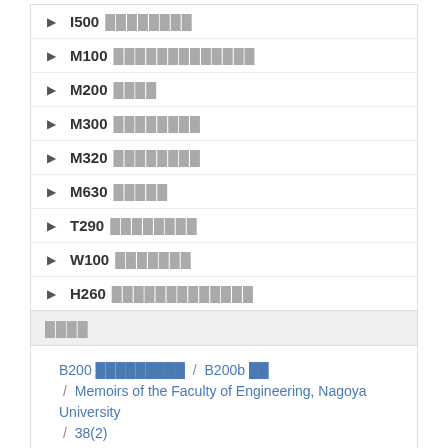I500 ████████
M100 █████████████
M200 ████
M300 ████████
M320 ████████
M630 █████
T290 ████████
W100 ███████
H260 █████████████
████
B200 █████████ / B200b ██ / Memoirs of the Faculty of Engineering, Nagoya University / 38(2)